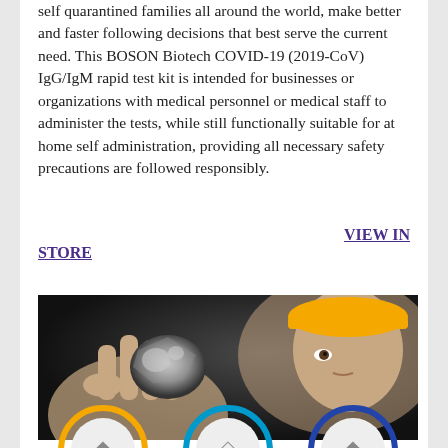self quarantined families all around the world, make better and faster following decisions that best serve the current need. This BOSON Biotech COVID-19 (2019-CoV) IgG/IgM rapid test kit is intended for businesses or organizations with medical personnel or medical staff to administer the tests, while still functionally suitable for at home self administration, providing all necessary safety precautions are followed responsibly.
VIEW IN STORE
[Figure (photo): A miner wearing a yellow hard hat holding up a raw mineral/ore sample with dark background]
[Figure (illustration): Three circular icon badges with orange, blue/teal, and dark blue outlines, partially visible at the bottom]